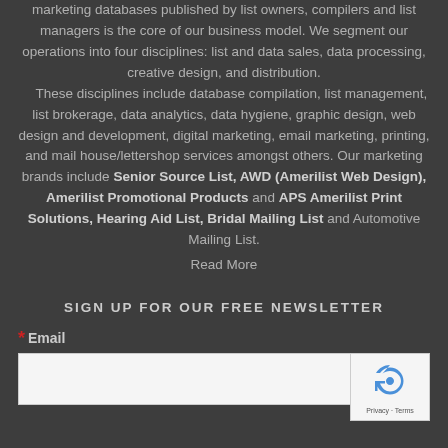marketing databases published by list owners, compilers and list managers is the core of our business model. We segment our operations into four disciplines: list and data sales, data processing, creative design, and distribution. These disciplines include database compilation, list management, list brokerage, data analytics, data hygiene, graphic design, web design and development, digital marketing, email marketing, printing, and mail house/lettershop services amongst others. Our marketing brands include Senior Source List, AWD (Amerilist Web Design), Amerilist Promotional Products and APS Amerilist Print Solutions, Hearing Aid List, Bridal Mailing List and Automotive Mailing List.
Read More
SIGN UP FOR OUR FREE NEWSLETTER
* Email